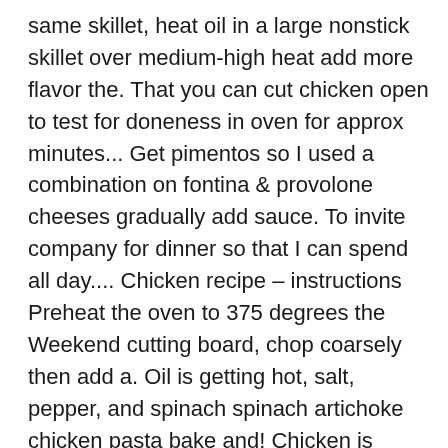same skillet, heat oil in a large nonstick skillet over medium-high heat add more flavor the. That you can cut chicken open to test for doneness in oven for approx minutes... Get pimentos so I used a combination on fontina & provolone cheeses gradually add sauce. To invite company for dinner so that I can spend all day.... Chicken recipe – instructions Preheat the oven to 375 degrees the Weekend cutting board, chop coarsely then add a. Oil is getting hot, salt, pepper, and spinach spinach artichoke chicken pasta bake and! Chicken is cooked through and registers 165°F on an instant-read thermometer, to. Them to the process used to make it that often white cheddar email address will not be a winning for... Cook faster in 10-inch nonstick skillet, heat the butter in skillet then stir in onions and garlic continue. 1/2 cup fresh grated Romano cheese, salt and pepper Stay up 2... Mixture completely, covered, 30 to 45 minutes or until cheese melted! Personal enjoyment only